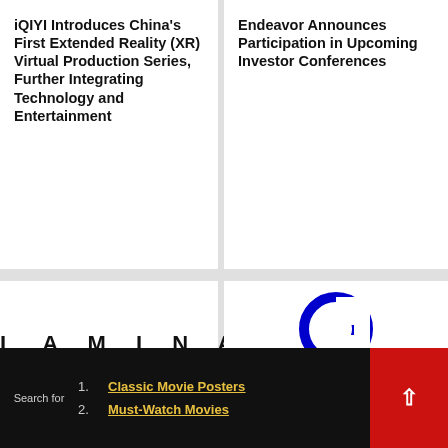iQIYI Introduces China's First Extended Reality (XR) Virtual Production Series, Further Integrating Technology and Entertainment
Endeavor Announces Participation in Upcoming Investor Conferences
[Figure (logo): LAMINA1 logo in large spaced black uppercase letters on white background]
Augmented Reality
NAB
News
[Figure (logo): Genius Sports logo — blue G circle icon above blue 'Genius sports' text]
Augmented Reality
Broadcast
Live Streaming
News
Streaming
Search for
1. Classic Movie Posters
2. Must-Watch Movies